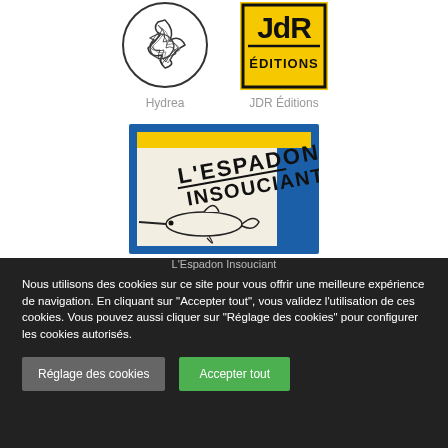[Figure (logo): Hydrea circular logo with abstract line drawing inside]
Hydrea
[Figure (logo): JDR Éditions logo: bold black letters JdR on yellow background with black border]
JDR Éditions
[Figure (logo): L'Espadon Insouciant logo: blue and yellow rectangular frame with a swordfish silhouette and handwritten-style text]
L'Espadon Insouciant
Nous utilisons des cookies sur ce site pour vous offrir une meilleure expérience de navigation. En cliquant sur "Accepter tout", vous validez l'utilisation de ces cookies. Vous pouvez aussi cliquer sur "Réglage des cookies" pour configurer les cookies autorisés.
Réglage des cookies
Accepter tout